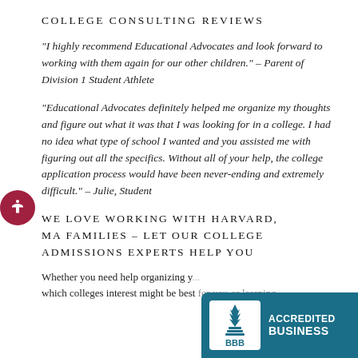COLLEGE CONSULTING REVIEWS
“I highly recommend Educational Advocates and look forward to working with them again for our other children.” – Parent of Division 1 Student Athlete
“Educational Advocates definitely helped me organize my thoughts and figure out what it was that I was looking for in a college. I had no idea what type of school I wanted and you assisted me with figuring out all the specifics. Without all of your help, the college application process would have been never-ending and extremely difficult.” – Julie, Student
WE LOVE WORKING WITH HARVARD, MA FAMILIES – LET OUR COLLEGE ADMISSIONS EXPERTS HELP YOU
Whether you need help organizing y... which colleges interest might be best for you or learning
[Figure (logo): BBB Accredited Business badge with teal background, BBB logo on white background, and text ACCREDITED BUSINESS in white bold letters]